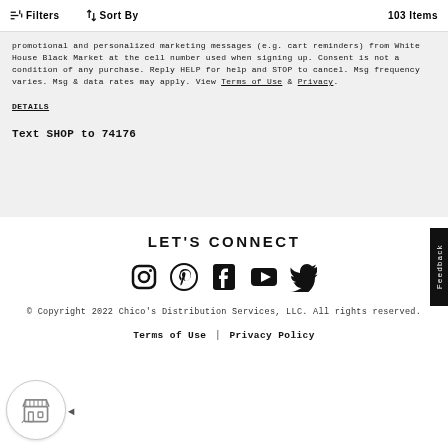Filters  Sort By  103 Items
promotional and personalized marketing messages (e.g. cart reminders) from White House Black Market at the cell number used when signing up. Consent is not a condition of any purchase. Reply HELP for help and STOP to cancel. Msg frequency varies. Msg & data rates may apply. View Terms of Use & Privacy.
DETAILS
Text SHOP to 74176
LET'S CONNECT
[Figure (other): Social media icons: Instagram, Pinterest, Facebook, YouTube, Twitter]
© Copyright 2022 Chico's Distribution Services, LLC. All rights reserved.
Terms of Use | Privacy Policy
[Figure (other): Chat widget icon with store/shop symbol]
Feedback